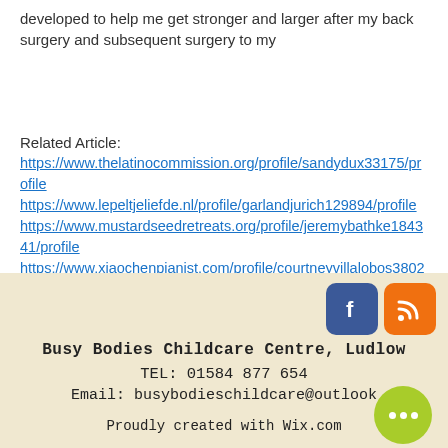developed to help me get stronger and larger after my back surgery and subsequent surgery to my
Related Article:
https://www.thelatinocommission.org/profile/sandydux33175/profile
https://www.lepeltjeliefde.nl/profile/garlandjurich129894/profile
https://www.mustardseedretreats.org/profile/jeremybathke184341/profile
https://www.xiaochenpianist.com/profile/courtneyvillalobos38022/profile
Busy Bodies Childcare Centre, Ludlow
TEL: 01584 877 654
Email: busybodieschildcare@outlook
Proudly created with Wix.com